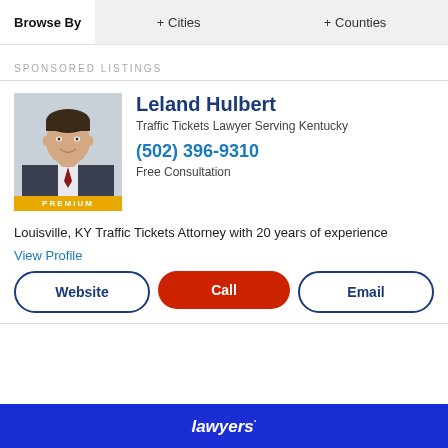Browse By  + Cities  + Counties
SPONSORED LISTINGS
[Figure (photo): Professional headshot of attorney Leland Hulbert in suit with PREMIUM badge]
Leland Hulbert
Traffic Tickets Lawyer Serving Kentucky
(502) 396-9310
Free Consultation
Louisville, KY Traffic Tickets Attorney with 20 years of experience
View Profile
Website  Call  Email
Lawyers·